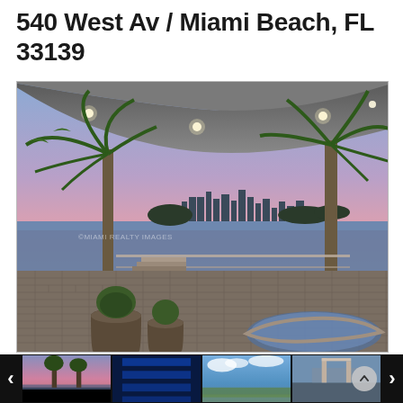540 West Av / Miami Beach, FL 33139
[Figure (photo): Luxury waterfront property photo: a covered outdoor terrace with recessed ceiling lights, two tall palm trees on left and right, overlooking Biscayne Bay with Miami skyline at sunset with pink and purple sky, brick paver patio with large planters, circular water feature in foreground right]
[Figure (photo): Thumbnail row showing four property photos: sunset/palm view, interior blue-lit architectural detail, waterway aerial view, and marina/dock view, with left and right navigation arrows and scroll-up button]